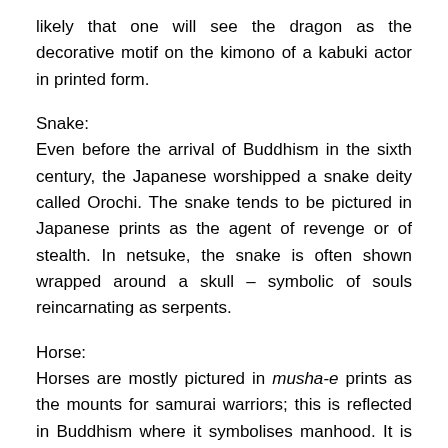likely that one will see the dragon as the decorative motif on the kimono of a kabuki actor in printed form.
Snake:
Even before the arrival of Buddhism in the sixth century, the Japanese worshipped a snake deity called Orochi. The snake tends to be pictured in Japanese prints as the agent of revenge or of stealth. In netsuke, the snake is often shown wrapped around a skull – symbolic of souls reincarnating as serpents.
Horse:
Horses are mostly pictured in musha-e prints as the mounts for samurai warriors; this is reflected in Buddhism where it symbolises manhood. It is also seen as a phallic symbol and representative of fecundity.